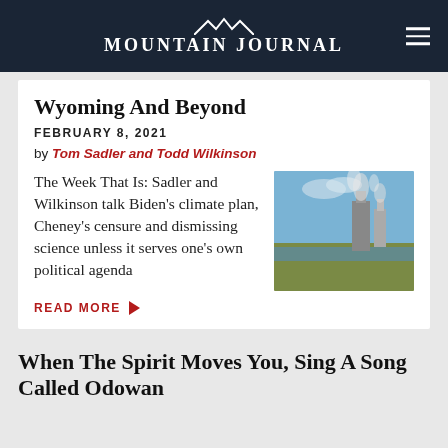MOUNTAIN JOURNAL
Wyoming And Beyond
FEBRUARY 8, 2021
by Tom Sadler and Todd Wilkinson
The Week That Is: Sadler and Wilkinson talk Biden's climate plan, Cheney's censure and dismissing science unless it serves one's own political agenda
[Figure (photo): Industrial facility with smokestacks emitting smoke, with flat landscape and water in background under blue sky]
READ MORE ▶
When The Spirit Moves You, Sing A Song Called Odowan